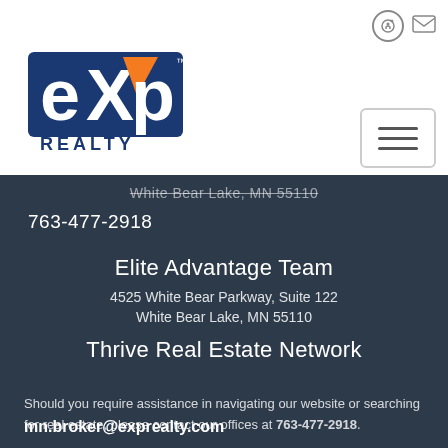[Figure (logo): eXp Realty logo with blue and orange lettering]
White Bear Lake, MN 55110
763-477-2918
Elite Advantage Team
4525 White Bear Parkway, Suite 122
White Bear Lake, MN 55110
Thrive Real Estate Network
Should you require assistance in navigating our website or searching for real estate, please contact our offices at 763-477-2918.
mn.broker@exprealty.com